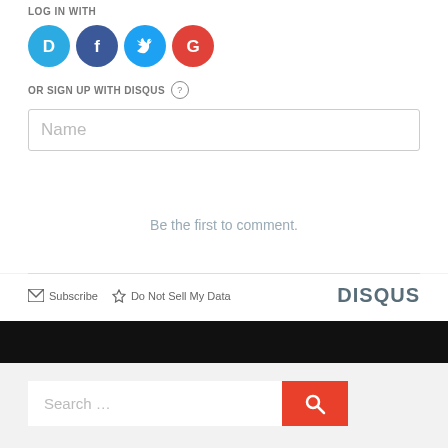LOG IN WITH
[Figure (illustration): Four social login icons: Disqus (blue D), Facebook (dark blue F), Twitter (light blue bird), Google (red G)]
OR SIGN UP WITH DISQUS ?
[Figure (screenshot): Name input field (text box)]
Be the first to comment.
Subscribe  Do Not Sell My Data   DISQUS
[Figure (screenshot): Search bar with red search button and magnifying glass icon]